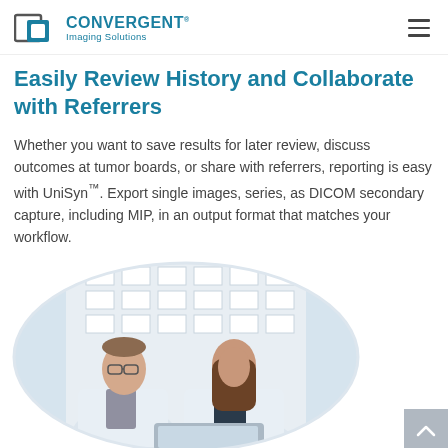CONVERGENT Imaging Solutions
Easily Review History and Collaborate with Referrers
Whether you want to save results for later review, discuss outcomes at tumor boards, or share with referrers, reporting is easy with UniSyn™. Export single images, series, as DICOM secondary capture, including MIP, in an output format that matches your workflow.
[Figure (photo): Two medical professionals in white coats collaborating over a laptop computer in a modern building atrium, shown in an oval crop]